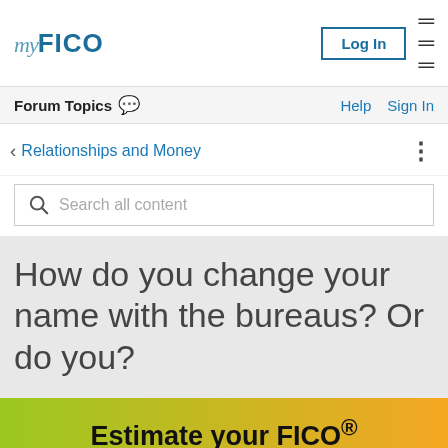myFICO — Log In | Help | Sign In | Forum Topics
Relationships and Money
Search all content
How do you change your name with the bureaus? Or do you?
Estimate your FICO® Score range